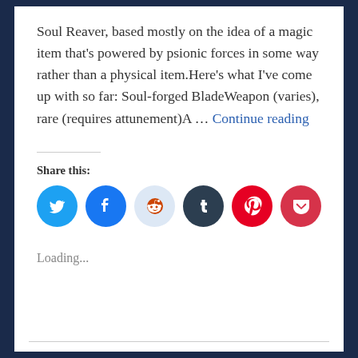Soul Reaver, based mostly on the idea of a magic item that's powered by psionic forces in some way rather than a physical item.Here's what I've come up with so far: Soul-forged BladeWeapon (varies), rare (requires attunement)A … Continue reading
Share this:
[Figure (infographic): Six circular social media sharing buttons: Twitter (blue), Facebook (blue), Reddit (light blue), Tumblr (dark navy), Pinterest (red), Pocket (red)]
Loading...